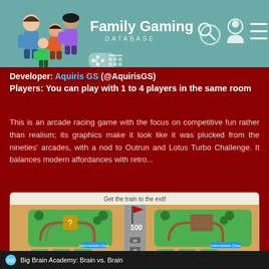[Figure (logo): Family Gaming Database website header with logo showing family illustration, gamepad icons, site name, search icon, user icon, and menu icon on teal background]
Developer: Aquiris GS (@AquirisGS)
Players: You can play with 1 to 4 players in the same room
This is an arcade racing game with the focus on competitive fun rather than realism; its graphics make it look like it was plucked from the nineties' arcades, with a nod to Outrun and Lotus Turbo Challenge. It balances modern affordances with retro...
[Figure (screenshot): Game screenshot showing 'Get the train to the exit!' puzzle game with two panels side by side, each showing a train track puzzle with directional arrows and green map areas. Score shows 100. Players labeled Cali and James.]
Big Brain Academy: Brain vs. Brain